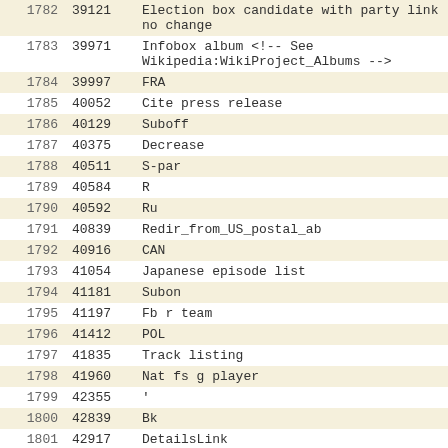| row | id | name |
| --- | --- | --- |
| 1782 | 39121 | Election box candidate with party link no change |
| 1783 | 39971 | Infobox album &lt;!-- See Wikipedia:WikiProject_Albums --&gt; |
| 1784 | 39997 | FRA |
| 1785 | 40052 | Cite press release |
| 1786 | 40129 | Suboff |
| 1787 | 40375 | Decrease |
| 1788 | 40511 | S-par |
| 1789 | 40584 | R |
| 1790 | 40592 | Ru |
| 1791 | 40839 | Redir_from_US_postal_ab |
| 1792 | 40916 | CAN |
| 1793 | 41054 | Japanese episode list |
| 1794 | 41181 | Subon |
| 1795 | 41197 | Fb r team |
| 1796 | 41412 | POL |
| 1797 | 41835 | Track listing |
| 1798 | 41960 | Nat fs g player |
| 1799 | 42355 | ' |
| 1800 | 42839 | Bk |
| 1801 | 42917 | DetailsLink |
| 1802 | 43061 | Plainlist |
| 1803 | 43082 | Infobox NRHP |
| 1804 | 43251 | MedalCountry |
| 1805 | 42635 | #tag:ref |